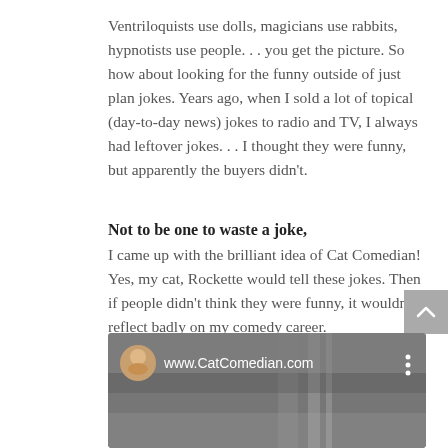Ventriloquists use dolls, magicians use rabbits, hypnotists use people. . . you get the picture. So how about looking for the funny outside of just plan jokes. Years ago, when I sold a lot of topical (day-to-day news) jokes to radio and TV, I always had leftover jokes. . . I thought they were funny, but apparently the buyers didn't.
Not to be one to waste a joke, I came up with the brilliant idea of Cat Comedian! Yes, my cat, Rockette would tell these jokes. Then if people didn't think they were funny, it wouldn't reflect badly on my comedy career.
[Figure (screenshot): Video thumbnail showing www.CatComedian.com with a blurred cat image in the background, a circular avatar of a woman, and a three-dot menu icon.]